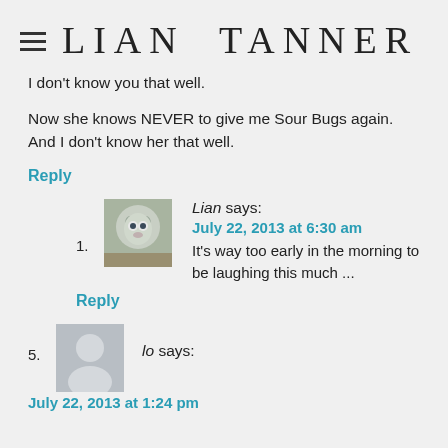LIAN TANNER
I don't know you that well.
Now she knows NEVER to give me Sour Bugs again. And I don't know her that well.
Reply
1. Lian says: July 22, 2013 at 6:30 am — It's way too early in the morning to be laughing this much ...
Reply
5. lo says: July 22, 2013 at 1:24 pm